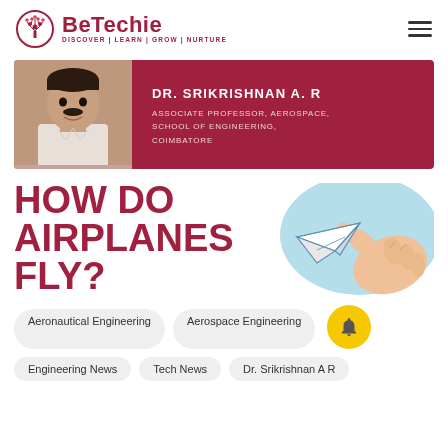[Figure (logo): BeTechie logo with tree icon and tagline DISCOVER | LEARN | GROW | NURTURE]
[Figure (photo): Profile banner with photo of Dr. Srikrishnan A R, Associate Professor Aerospace on maroon background]
HOW DO AIRPLANES FLY?
[Figure (illustration): Hand holding a paper airplane with light blue background circle]
Aeronautical Engineering
Aerospace Engineering
Engineering News
Tech News
Dr. Srikrishnan A R